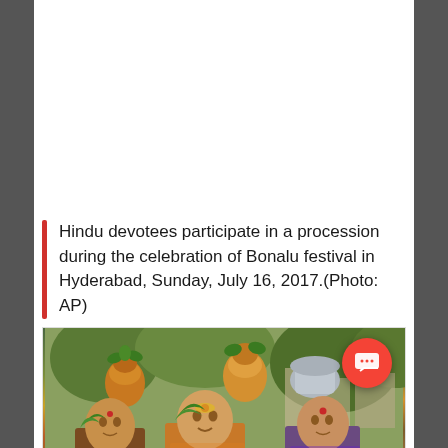Hindu devotees participate in a procession during the celebration of Bonalu festival in Hyderabad, Sunday, July 16, 2017.(Photo: AP)
[Figure (photo): Photograph of Hindu devotees carrying decorated pots on their heads during the Bonalu festival procession in Hyderabad. Women in colorful saris with turmeric on their faces carry ornate clay pots adorned with flowers and neem leaves.]